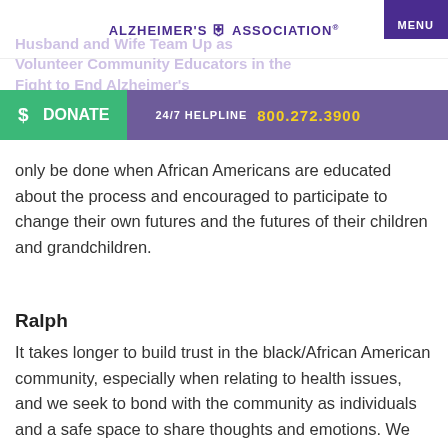ALZHEIMER'S ASSOCIATION — MENU
Husband and Wife Team Up as Volunteer Community Educators in the Fight to End Alzheimer's
$ DONATE   24/7 HELPLINE   800.272.3900
only be done when African Americans are educated about the process and encouraged to participate to change their own futures and the futures of their children and grandchildren.
Ralph
It takes longer to build trust in the black/African American community, especially when relating to health issues, and we seek to bond with the community as individuals and a safe space to share thoughts and emotions. We believe that stigma is declining because of the hard work the Association is doing; we see that in our community. We are helping create a space for groups to establish